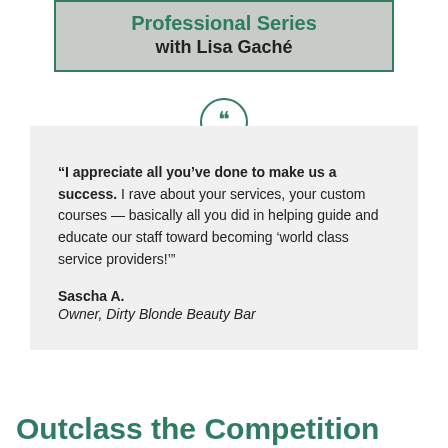Professional Series with Lisa Gaché
“I appreciate all you’ve done to make us a success. I rave about your services, your custom courses — basically all you did in helping guide and educate our staff toward becoming ‘world class service providers!’”
Sascha A.
Owner, Dirty Blonde Beauty Bar
Outclass the Competition